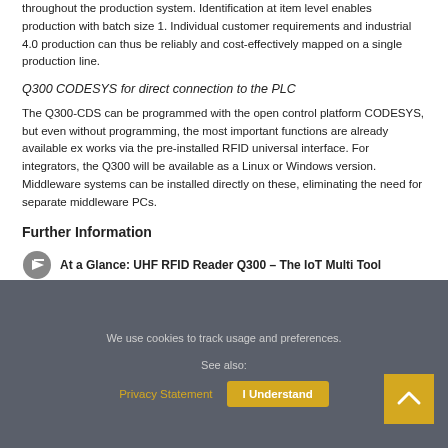throughout the production system. Identification at item level enables production with batch size 1. Individual customer requirements and industrial 4.0 production can thus be reliably and cost-effectively mapped on a single production line.
Q300 CODESYS for direct connection to the PLC
The Q300-CDS can be programmed with the open control platform CODESYS, but even without programming, the most important functions are already available ex works via the pre-installed RFID universal interface. For integrators, the Q300 will be available as a Linux or Windows version. Middleware systems can be installed directly on these, eliminating the need for separate middleware PCs.
Further Information
At a Glance: UHF RFID Reader Q300 – The IoT Multi Tool
Flyer: Q300 – UHF RFID Reader with Ethernet
We use cookies to track usage and preferences. See also: Privacy Statement | I Understand